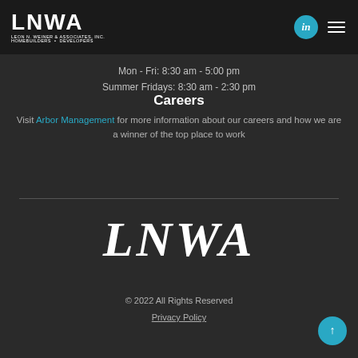LNWA — LEON N. WEINER & ASSOCIATES, INC. HOMEBUILDERS • DEVELOPERS
Mon - Fri: 8:30 am - 5:00 pm
Summer Fridays: 8:30 am - 2:30 pm
Careers
Visit Arbor Management for more information about our careers and how we are a winner of the top place to work
[Figure (logo): LNWA serif italic large footer logo]
© 2022 All Rights Reserved
Privacy Policy